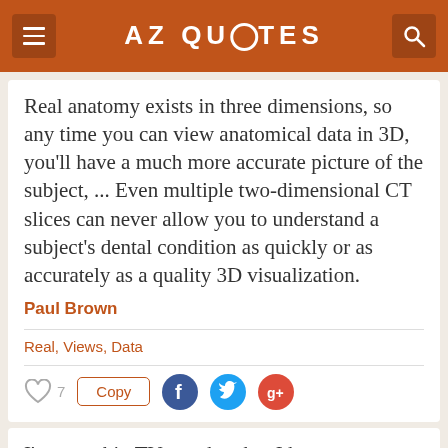AZ QUOTES
Real anatomy exists in three dimensions, so any time you can view anatomical data in 3D, you'll have a much more accurate picture of the subject, ... Even multiple two-dimensional CT slices can never allow you to understand a subject's dental condition as quickly or as accurately as a quality 3D visualization.
Paul Brown
Real, Views, Data
I'm not a big TV watcher, but I know